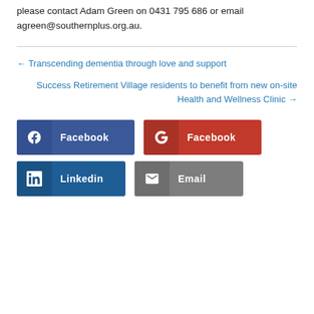please contact Adam Green on 0431 795 686 or email agreen@southernplus.org.au.
← Transcending dementia through love and support
Success Retirement Village residents to benefit from new on-site Health and Wellness Clinic →
[Figure (infographic): Four social share buttons: Facebook (blue), Facebook (red/Google+), Linkedin (dark blue), Email (gray)]